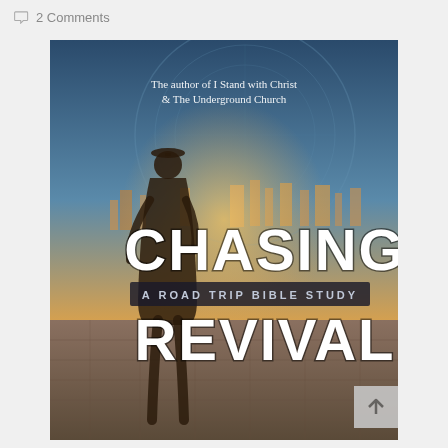2 Comments
[Figure (illustration): Book cover of 'Chasing Revival: A Road Trip Bible Study' showing a silhouette of a person standing in front of a cityscape with golden light. Text reads 'The author of I Stand with Christ & The Underground Church' at top, 'CHASING' in large white distressed letters, 'A ROAD TRIP BIBLE STUDY' in a dark banner, and 'REVIVAL' in large white distressed letters at bottom.]